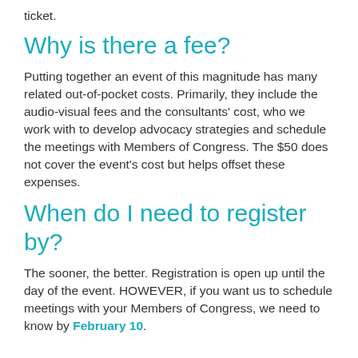ticket.
Why is there a fee?
Putting together an event of this magnitude has many related out-of-pocket costs. Primarily, they include the audio-visual fees and the consultants' cost, who we work with to develop advocacy strategies and schedule the meetings with Members of Congress. The $50 does not cover the event's cost but helps offset these expenses.
When do I need to register by?
The sooner, the better. Registration is open up until the day of the event. HOWEVER, if you want us to schedule meetings with your Members of Congress, we need to know by February 10.